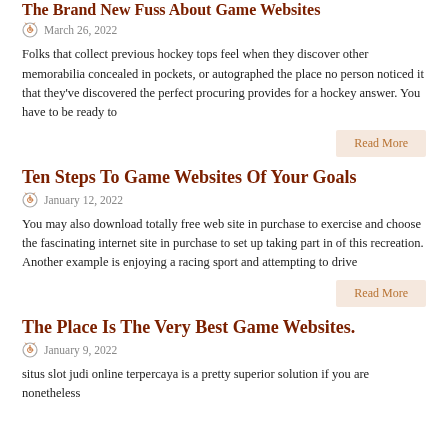The Brand New Fuss About Game Websites
March 26, 2022
Folks that collect previous hockey tops feel when they discover other memorabilia concealed in pockets, or autographed the place no person noticed it that they've discovered the perfect procuring provides for a hockey answer. You have to be ready to
Read More
Ten Steps To Game Websites Of Your Goals
January 12, 2022
You may also download totally free web site in purchase to exercise and choose the fascinating internet site in purchase to set up taking part in of this recreation. Another example is enjoying a racing sport and attempting to drive
Read More
The Place Is The Very Best Game Websites.
January 9, 2022
situs slot judi online terpercaya is a pretty superior solution if you are nonetheless